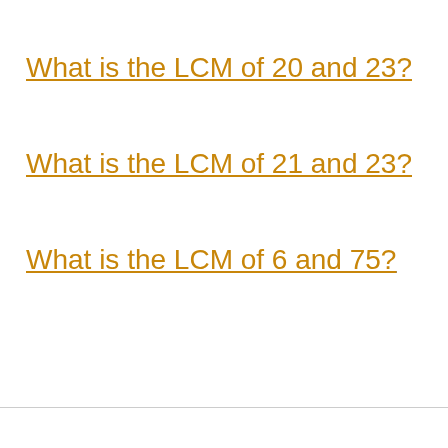What is the LCM of 20 and 23?
What is the LCM of 21 and 23?
What is the LCM of 6 and 75?